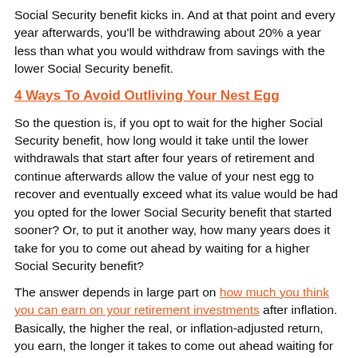Social Security benefit kicks in. And at that point and every year afterwards, you'll be withdrawing about 20% a year less than what you would withdraw from savings with the lower Social Security benefit.
4 Ways To Avoid Outliving Your Nest Egg
So the question is, if you opt to wait for the higher Social Security benefit, how long would it take until the lower withdrawals that start after four years of retirement and continue afterwards allow the value of your nest egg to recover and eventually exceed what its value would be had you opted for the lower Social Security benefit that started sooner? Or, to put it another way, how many years does it take for you to come out ahead by waiting for a higher Social Security benefit?
The answer depends in large part on how much you think you can earn on your retirement investments after inflation. Basically, the higher the real, or inflation-adjusted return, you earn, the longer it takes to come out ahead waiting for the higher Social Security benefit.